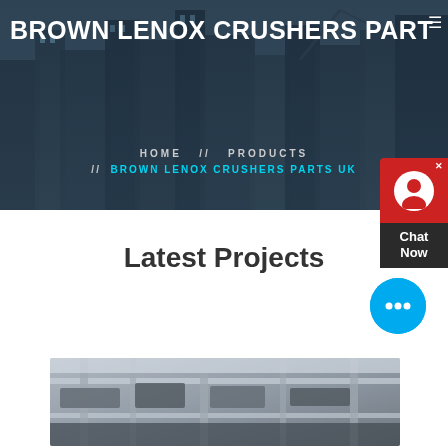BROWN LENOX CRUSHERS PART
HOME // PRODUCTS // BROWN LENOX CRUSHERS PARTS UK
[Figure (screenshot): Chat Now widget showing red header with person icon and dark body with text 'Chat Now']
Latest Projects
[Figure (photo): Industrial crusher machinery in a factory/plant setting, showing heavy mechanical equipment with metal frames and conveyor structures]
[Figure (other): Blue circular chat bubble button with ellipsis icon]